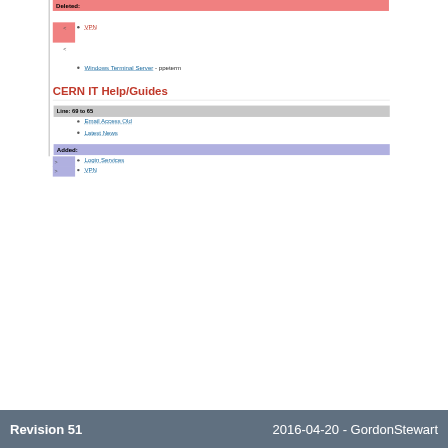Deleted:
VPN
Windows Terminal Server - ppeterm
CERN IT Help/Guides
Line: 69 to 65
Email Access Old
Latest News
Added:
Login Services
VPN
Revision 51    2016-04-20 - GordonStewart